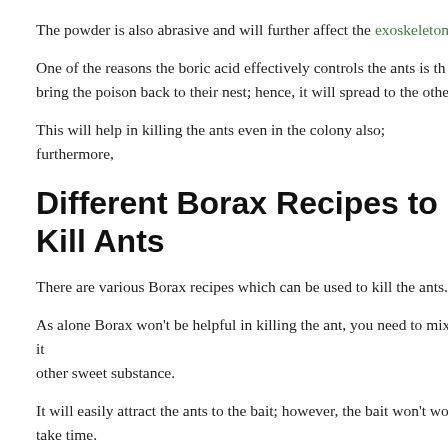The powder is also abrasive and will further affect the exoskeleton
One of the reasons the boric acid effectively controls the ants is th... bring the poison back to their nest; hence, it will spread to the othe...
This will help in killing the ants even in the colony also; furthermore,
Different Borax Recipes to Kill Ants
There are various Borax recipes which can be used to kill the ants.
As alone Borax won't be helpful in killing the ant, you need to mix it other sweet substance.
It will easily attract the ants to the bait; however, the bait won't wo... take time.
See Also:  Eliminate Fire Ants From Your Home & Yard | Best Fire Ant
Until the ant reaches the colony, it will be poisoned and will also infe... colony; this will help kill most of the ants in the colony.
How to Use Borax for Killing Ants
Here are some of the mixtures that you should to use by the f...